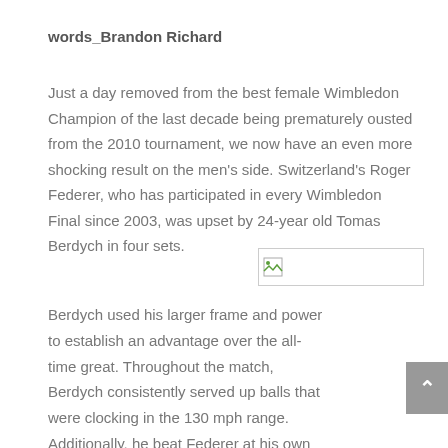words_Brandon Richard
Just a day removed from the best female Wimbledon Champion of the last decade being prematurely ousted from the 2010 tournament, we now have an even more shocking result on the men's side. Switzerland's Roger Federer, who has participated in every Wimbledon Final since 2003, was upset by 24-year old Tomas Berdych in four sets.
[Figure (photo): Broken/placeholder image thumbnail]
Berdych used his larger frame and power to establish an advantage over the all-time great. Throughout the match, Berdych consistently served up balls that were clocking in the 130 mph range. Additionally, he beat Federer at his own game, ripping